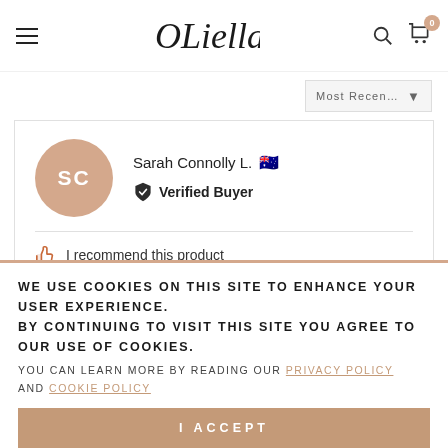OLiella — navigation header with hamburger menu, logo, search and cart icons
Most Recent ▾
[Figure (screenshot): Reviewer card showing avatar 'SC' for Sarah Connolly L. with Australian flag, Verified Buyer badge, thumbsup icon and 'I recommend this product' text]
WE USE COOKIES ON THIS SITE TO ENHANCE YOUR USER EXPERIENCE. BY CONTINUING TO VISIT THIS SITE YOU AGREE TO OUR USE OF COOKIES.
YOU CAN LEARN MORE BY READING OUR PRIVACY POLICY AND COOKIE POLICY
I ACCEPT